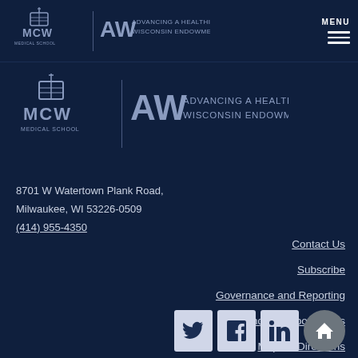MCW Medical School | AW Advancing a Healthier Wisconsin Endowment | MENU
[Figure (logo): MCW Medical School and AW Advancing a Healthier Wisconsin Endowment logos combined]
8701 W Watertown Plank Road,
Milwaukee, WI 53226-0509
(414) 955-4350
Contact Us
Subscribe
Governance and Reporting
Funding Opportunities
Maps & Directions
[Figure (other): Social media icons: Twitter, Facebook, LinkedIn and scroll-to-top button]